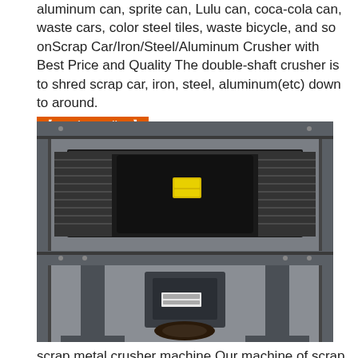aluminum can, sprite can, Lulu can, coca-cola can, waste cars, color steel tiles, waste bicycle, and so onScrap Car/Iron/Steel/Aluminum Crusher with Best Price and Quality The double-shaft crusher is to shred scrap car, iron, steel, aluminum(etc) down to around. 【service online】
[Figure (photo): Photo of a scrap metal crusher machine showing the double-shaft mechanism, motor, and metal frame structure.]
scrap metal crusher machine Our machine of scrap metal crusher machine: Henan meshen Manufacturing Co, Ltd is a modern industrial corporation, integrating